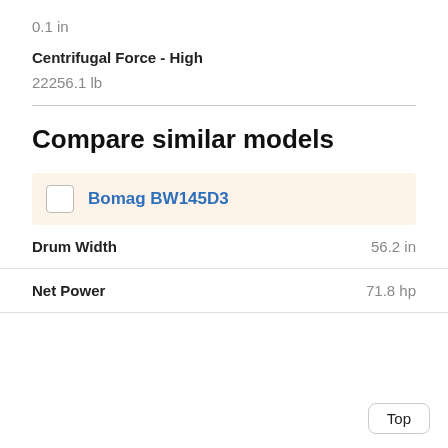0.1 in
Centrifugal Force - High
22256.1 lb
Compare similar models
Bomag BW145D3
| Spec | Value |
| --- | --- |
| Drum Width | 56.2 in |
| Net Power | 71.8 hp |
Top